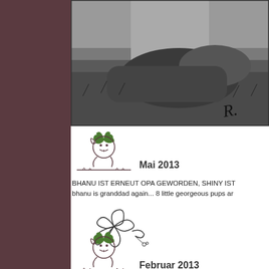[Figure (photo): Black and white photograph of a dog lying in grass, with a handwritten signature 'R.' visible in the lower right corner.]
Mai 2013
BHANU IST ERNEUT OPA GEWORDEN, SHINY IST... bhanu is granddad again... 8 little georgeous pups ar...
[Figure (illustration): Decorative flower/clover illustration with loop petals, pen-drawn style.]
Februar 2013